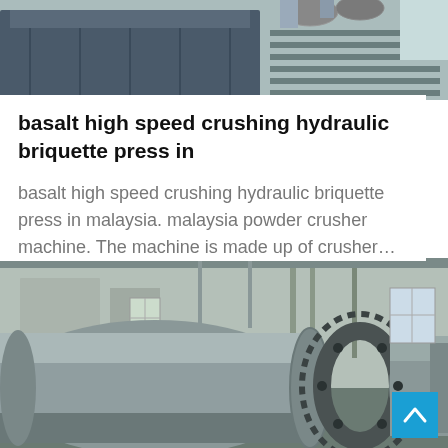[Figure (photo): Industrial machinery — partial top view of a large industrial press or roller machine with dark metal casing and components, factory setting]
basalt high speed crushing hydraulic briquette press in
basalt high speed crushing hydraulic briquette press in malaysia. malaysia powder crusher machine. The machine is made up of crusher…
[Figure (photo): Industrial rotary drum or kiln machine inside a large factory warehouse. Large cylindrical gray metal drum with gear ring coupling, industrial setting with windows and structural beams in background.]